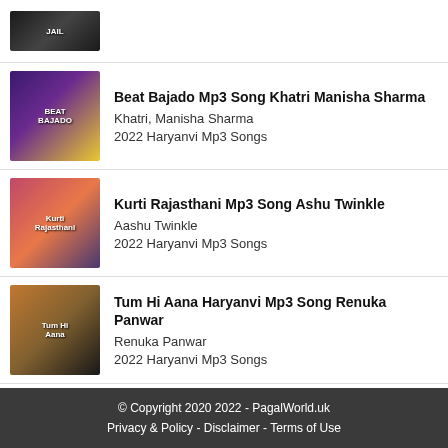[Figure (photo): Jail movie thumbnail - dark background with movie poster]
Beat Bajado Mp3 Song Khatri Manisha Sharma
Khatri, Manisha Sharma
2022 Haryanvi Mp3 Songs
Kurti Rajasthani Mp3 Song Ashu Twinkle
Aashu Twinkle
2022 Haryanvi Mp3 Songs
Tum Hi Aana Haryanvi Mp3 Song Renuka Panwar
Renuka Panwar
2022 Haryanvi Mp3 Songs
Door Akhiyon Se Mp3 Song Rochak Kohli
Lisa Mishra, Rochak Kohli
2022 IndiPop Music
© Copyright 2020 2022 - PagalWorld.uk
Privacy & Policy - Disclaimer - Terms of Use